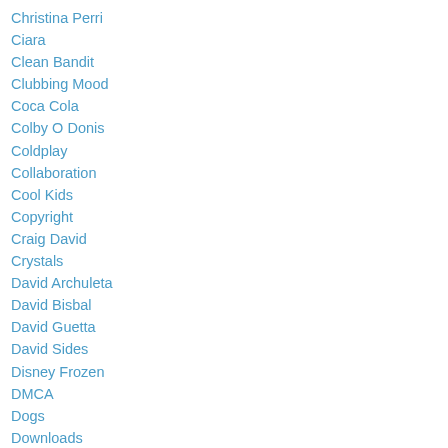Christina Perri
Ciara
Clean Bandit
Clubbing Mood
Coca Cola
Colby O Donis
Coldplay
Collaboration
Cool Kids
Copyright
Craig David
Crystals
David Archuleta
David Bisbal
David Guetta
David Sides
Disney Frozen
DMCA
Dogs
Downloads